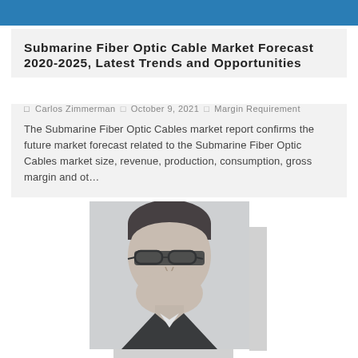[Figure (other): Blue header bar banner at top of page]
Submarine Fiber Optic Cable Market Forecast 2020-2025, Latest Trends and Opportunities
Carlos Zimmerman  October 9, 2021  Margin Requirement
The Submarine Fiber Optic Cables market report confirms the future market forecast related to the Submarine Fiber Optic Cables market size, revenue, production, consumption, gross margin and ot…
[Figure (photo): Black and white portrait photo of a man wearing glasses and a suit, smiling]